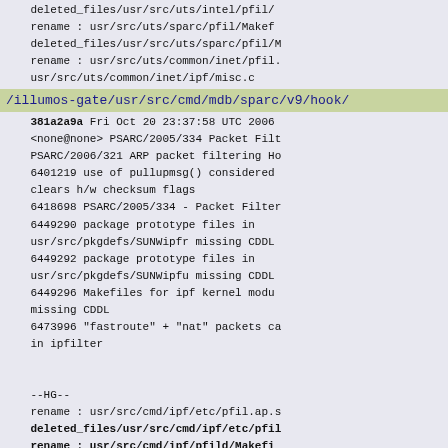deleted_files/usr/src/uts/intel/pfil/...
rename : usr/src/uts/sparc/pfil/Makef...
deleted_files/usr/src/uts/sparc/pfil/M...
rename : usr/src/uts/common/inet/pfil...
usr/src/uts/common/inet/ipf/misc.c
/illumos-gate/usr/src/cmd/mdb/sparc/v9/hook/
381a2a9a Fri Oct 20 23:37:58 UTC 2006
<none@none> PSARC/2005/334 Packet Filt...
PSARC/2006/321 ARP packet filtering Ho...
6401219 use of pullupmsg() considered...
clears h/w checksum flags
6418698 PSARC/2005/334 - Packet Filter...
6449290 package prototype files in
usr/src/pkgdefs/SUNWipfr missing CDDL...
6449292 package prototype files in
usr/src/pkgdefs/SUNWipfu missing CDDL...
6449296 Makefiles for ipf kernel modu...
missing CDDL
6473996 "fastroute" + "nat" packets ca...
in ipfilter

--HG--
rename : usr/src/cmd/ipf/etc/pfil.ap.s...
deleted_files/usr/src/cmd/ipf/etc/pfil...
rename : usr/src/cmd/ipf/pfild/Makefi...